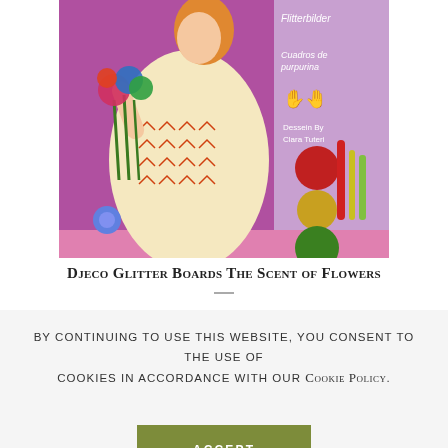[Figure (illustration): Product image of Djeco Glitter Boards The Scent of Flowers — colorful illustration of a woman in a decorative dress holding flowers, with glitter ornament balls, on a purple/pink background. Text on right side: 'Flitterbilder', 'Cuadros de purpurina', hand icons, 'Dessein By Clara Tuteri'.]
Djeco Glitter Boards The Scent of Flowers
By continuing to use this website, you consent to the use of cookies in accordance with our Cookie Policy.
ACCEPT